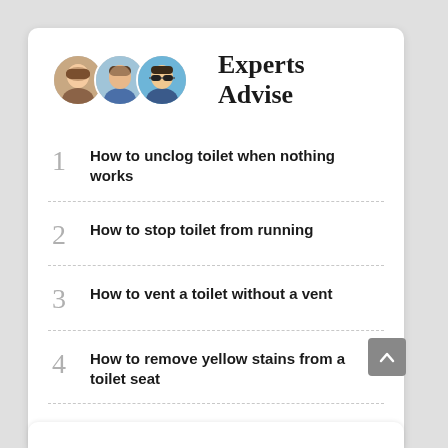Experts Advise
How to unclog toilet when nothing works
How to stop toilet from running
How to vent a toilet without a vent
How to remove yellow stains from a toilet seat
How to manually flush a toilet